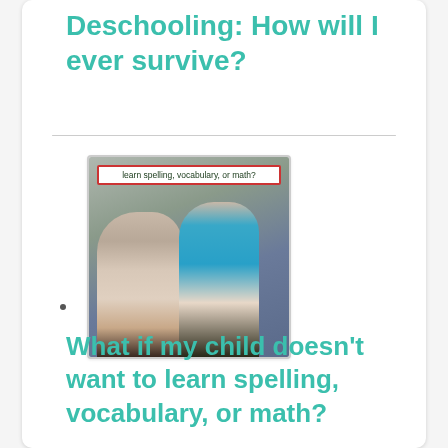Deschooling: How will I ever survive?
[Figure (photo): Two children making surprised/funny faces with mouths open, posing together outdoors. A banner at top reads 'learn spelling, vocabulary, or math?']
What if my child doesn’t want to learn spelling, vocabulary, or math?